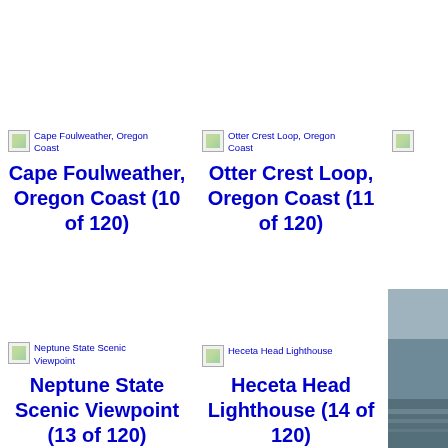[Figure (other): Broken image icon for Cape Foulweather, Oregon Coast with alt text]
Cape Foulweather, Oregon Coast (10 of 120)
[Figure (other): Broken image icon for Otter Crest Loop, Oregon Coast with alt text]
Otter Crest Loop, Oregon Coast (11 of 120)
[Figure (other): Partial broken image icon for item 12 of 120]
[Figure (other): Broken image icon for Neptune State Scenic Viewpoint]
Neptune State Scenic Viewpoint (13 of 120)
[Figure (other): Broken image icon for Heceta Head Lighthouse]
Heceta Head Lighthouse (14 of 120)
[Figure (photo): Partial photo showing ocean/sea view, dark grey-blue tones]